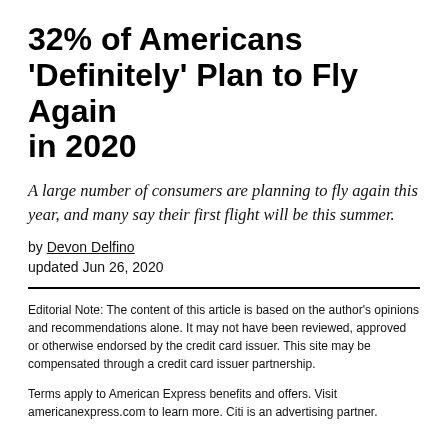32% of Americans 'Definitely' Plan to Fly Again in 2020
A large number of consumers are planning to fly again this year, and many say their first flight will be this summer.
by Devon Delfino
updated Jun 26, 2020
Editorial Note: The content of this article is based on the author's opinions and recommendations alone. It may not have been reviewed, approved or otherwise endorsed by the credit card issuer. This site may be compensated through a credit card issuer partnership.
Terms apply to American Express benefits and offers. Visit americanexpress.com to learn more. Citi is an advertising partner.